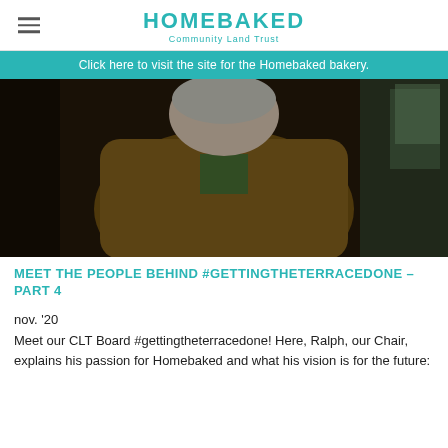HOMEBAKED Community Land Trust
Click here to visit the site for the Homebaked bakery.
[Figure (photo): A man in a brown tweed jacket leaning forward, photographed from above in a dark indoor setting.]
MEET THE PEOPLE BEHIND #GETTINGTHETERRACEDONE – PART 4
nov. '20
Meet our CLT Board #gettingtheterracedone! Here, Ralph, our Chair, explains his passion for Homebaked and what his vision is for the future: